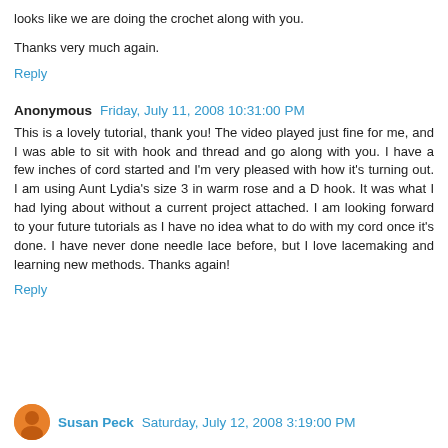looks like we are doing the crochet along with you.
Thanks very much again.
Reply
Anonymous  Friday, July 11, 2008 10:31:00 PM
This is a lovely tutorial, thank you! The video played just fine for me, and I was able to sit with hook and thread and go along with you. I have a few inches of cord started and I'm very pleased with how it's turning out. I am using Aunt Lydia's size 3 in warm rose and a D hook. It was what I had lying about without a current project attached. I am looking forward to your future tutorials as I have no idea what to do with my cord once it's done. I have never done needle lace before, but I love lacemaking and learning new methods. Thanks again!
Reply
Susan Peck  Saturday, July 12, 2008 3:19:00 PM